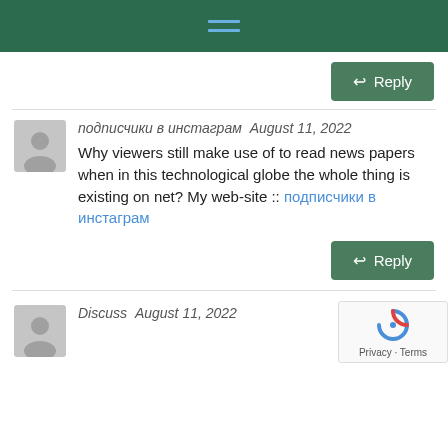Navigation menu (hamburger icon)
Reply
подписчики в инстаграм   August 11, 2022
Why viewers still make use of to read news papers when in this technological globe the whole thing is existing on net? My web-site :: подписчики в инстаграм
Reply
Discuss   August 11, 2022